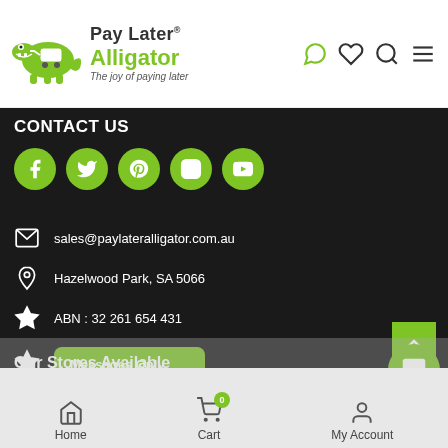[Figure (logo): Pay Later Alligator logo with green crocodile mascot and shopping cart, tagline: The joy of paying later]
CONTACT US
[Figure (infographic): Row of 5 green circular social media icon buttons: Facebook, Twitter, Pinterest, Instagram, YouTube]
sales@paylateralligator.com.au
Hazelwood Park, SA 5066
ABN : 32 261 654 431
Messages Only
+61481 750770
Our Stores Available
Home   Cart   My Account